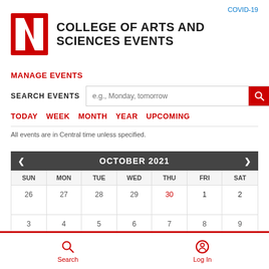COVID-19
COLLEGE OF ARTS AND SCIENCES EVENTS
MANAGE EVENTS
SEARCH EVENTS
TODAY   WEEK   MONTH   YEAR   UPCOMING
All events are in Central time unless specified.
| SUN | MON | TUE | WED | THU | FRI | SAT |
| --- | --- | --- | --- | --- | --- | --- |
| 26 | 27 | 28 | 29 | 30 | 1 | 2 |
| 3 | 4 | 5 | 6 | 7 | 8 | 9 |
Search
Log In